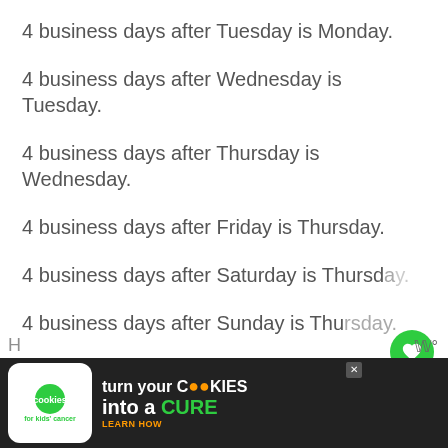4 business days after Tuesday is Monday.
4 business days after Wednesday is Tuesday.
4 business days after Thursday is Wednesday.
4 business days after Friday is Thursday.
4 business days after Saturday is Thursday.
4 business days after Sunday is Thursday.